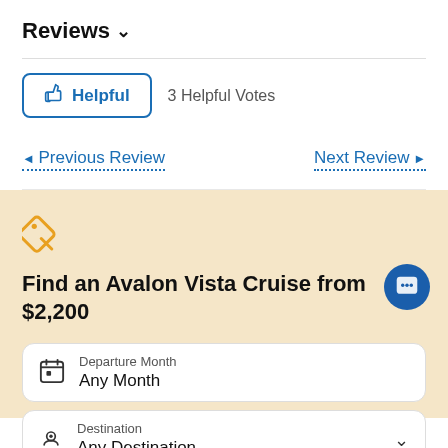Reviews ▼
👍 Helpful   3 Helpful Votes
◄ Previous Review   Next Review ►
[Figure (illustration): Orange price tag icon]
Find an Avalon Vista Cruise from $2,200
Departure Month: Any Month
Destination: Any Destination